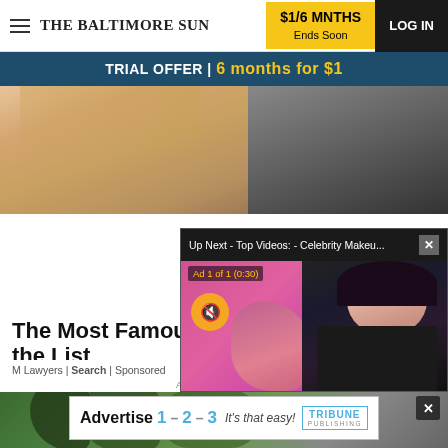THE BALTIMORE SUN | $1/6 MNTHS Ends Soon | LOG IN
TRIAL OFFER | 6 months for $1
[Figure (photo): Close-up photo of a blonde woman on the left and a dark-haired man on the right]
[Figure (screenshot): Video overlay popup: 'Up Next - Top Videos: - Celebrity Makeu...' with Ad 1 of 1 (0:30) and mute button, showing a dark-haired woman in front of a pink background]
The Most Famous the List
M Lawyers | Search | Sponsored
[Figure (photo): Nature photo with trees and green foliage with a person partially visible]
ADVERTISEMENT
[Figure (other): Tribune Publishing advertisement: Advertise 1-2-3 It's that easy!]